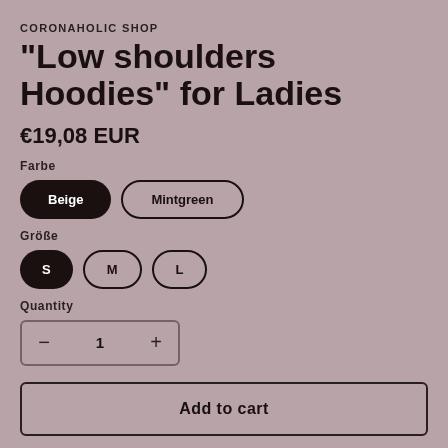CORONAHOLIC SHOP
"Low shoulders Hoodies" for Ladies
€19,08 EUR
Farbe
Beige (selected), Mintgreen
Größe
S (selected), M, L
Quantity
- 1 +
Add to cart